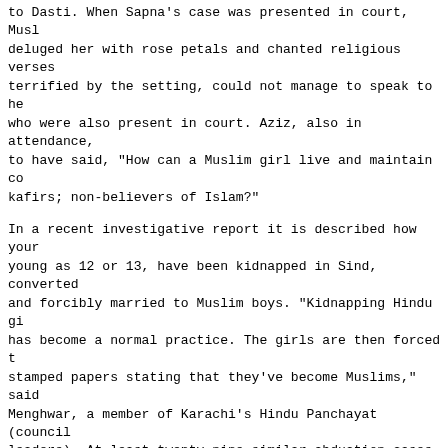to Dasti. When Sapna's case was presented in court, Muslims deluged her with rose petals and chanted religious verses. She, terrified by the setting, could not manage to speak to her family who were also present in court. Aziz, also in attendance, is said to have said, "How can a Muslim girl live and maintain contact with kafirs; non-believers of Islam?"
In a recent investigative report it is described how young girls, as young as 12 or 13, have been kidnapped in Sind, converted to Islam and forcibly married to Muslim boys. "Kidnapping Hindu girls has become a normal practice. The girls are then forced to sign stamped papers stating that they've become Muslims," said Sanjhi Menghwar, a member of Karachi's Hindu Panchayat (council of community leaders). At least twenty nine similar abduction cases have taken place in Karachi alone, and six in the Jacobabad and Larkana districts. Wasim Shahzad, the Minister of State for Interior, upset legislators in the National Assembly when he was quoted by the state-run APP news agency as saying, "These incidents are attempts to force the Hindus to leave Pakistan where they have been living for the past 5,000 years."
In a shocking incident, it was reported that three young Hindu girls had suddenly converted to Islam. The three girls, Reena (21), Rini (19) and Rima (17) – daughters of Sanno Amra and Champa, a Hindu couple living in the Punjab Colony section of Karachi, Pakistan – went missing on October 18, 2005. According to a widely circulated article in the Pakistan newspaper Dawn, entitled "Conversion losses," a London based Pakistani commentator, Irfan Hussain, described the shock experienced by Sanno Amra and Champa when they returned home from work on October 18, 2005 to discover their three daughters